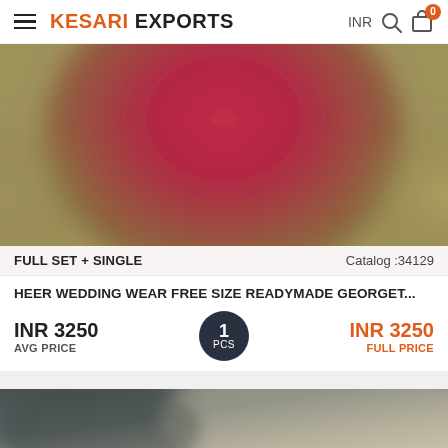KESARI EXPORTS — INR
[Figure (photo): Blurred product image showing red and golden/olive tones, likely a saree or dupatta fabric in wedding colors]
FULL SET + SINGLE    Catalog :34129
HEER WEDDING WEAR FREE SIZE READYMADE GEORGET...
INR 3250
AVG PRICE
1 PCS
INR 3250
FULL PRICE
[Figure (photo): Partial blurred product image showing dark grey/silver tones, likely another garment]